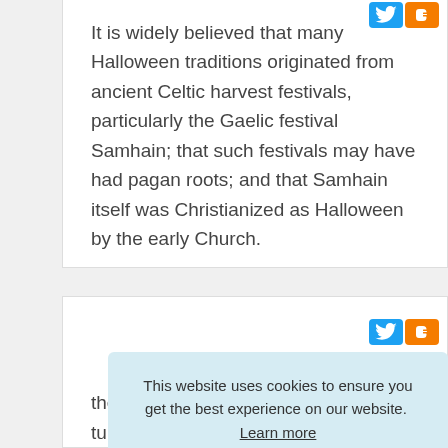It is widely believed that many Halloween traditions originated from ancient Celtic harvest festivals, particularly the Gaelic festival Samhain; that such festivals may have had pagan roots; and that Samhain itself was Christianized as Halloween by the early Church.
the orange color of vegetables and turned
This website uses cookies to ensure you get the best experience on our website.  Learn more
Got it!